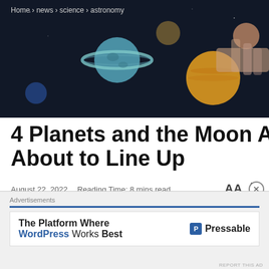Home > news > science > astronomy
[Figure (photo): Dark background hero image showing a Saturn-like planet model with colorful planet spheres and a hand, space-themed scene]
4 Planets and the Moon Are About to Line Up
August 22, 2022  Reading Time: 8 mins read
0 SHARES
4 planets will align together with
Advertisements
The Platform Where WordPress Works Best   Pressable